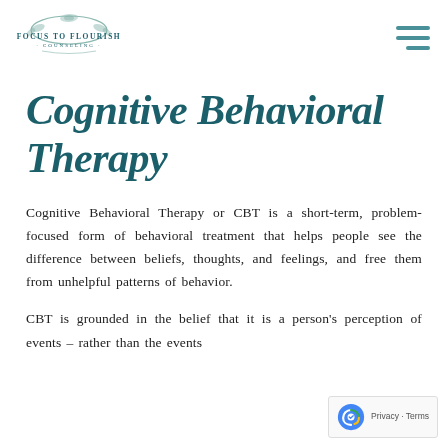Focus to Flourish Counseling — logo and navigation
Cognitive Behavioral Therapy
Cognitive Behavioral Therapy or CBT is a short-term, problem-focused form of behavioral treatment that helps people see the difference between beliefs, thoughts, and feelings, and free them from unhelpful patterns of behavior.
CBT is grounded in the belief that it is a person's perception of events – rather than the events